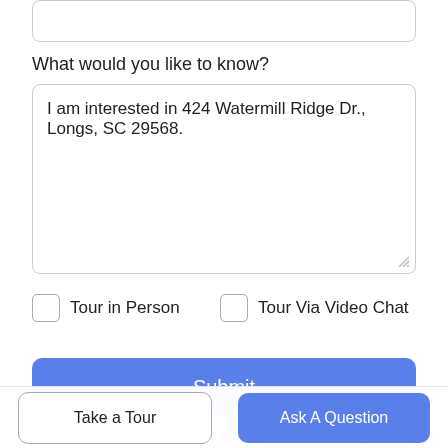What would you like to know?
I am interested in 424 Watermill Ridge Dr., Longs, SC 29568.
Tour in Person
Tour Via Video Chat
Submit
Disclaimer: By entering your information and submitting this form, you agree to our Terms of Use and Privacy Policy and that you may be contacted by phone, text message and email about your inquiry.
Take a Tour
Ask A Question